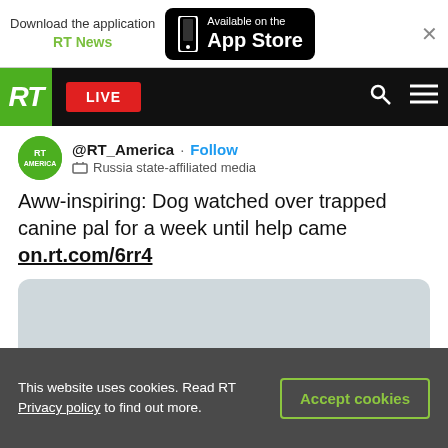[Figure (screenshot): App Store download banner with RT News branding and close button]
[Figure (screenshot): RT news website navigation bar with green RT logo, red LIVE button, search and menu icons]
@RT_America · Follow
Russia state-affiliated media
Aww-inspiring: Dog watched over trapped canine pal for a week until help came on.rt.com/6rr4
[Figure (photo): Gray placeholder area for embedded tweet image]
This website uses cookies. Read RT Privacy policy to find out more.
Accept cookies